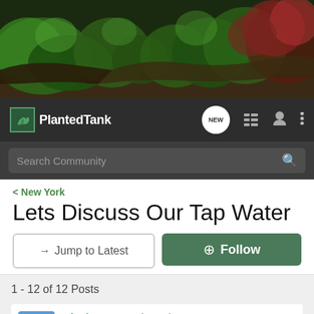[Figure (photo): Aquarium banner photo showing a lush planted tank with green and red aquatic plants]
Planted Tank — NEW — navigation icons
Search Community
< New York
Lets Discuss Our Tap Water
→ Jump to Latest
+ Follow
1 - 12 of 12 Posts
Bluek24a4 · Registered
Joined Mar 16, 2010 · 816 Posts